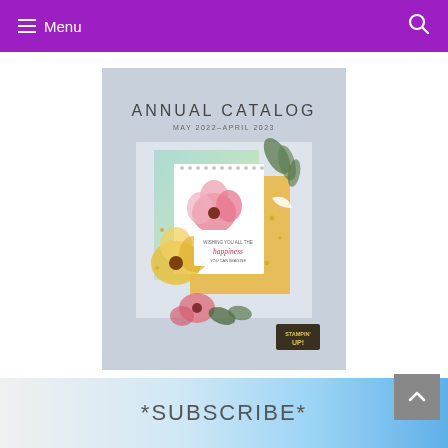Menu
[Figure (illustration): Cover of Stampin' Up! Annual Catalog May 2022–April 2023, showing floral watercolor artwork with pink and yellow flowers, greenery, and a card reading 'wishing you all the happiness you can imagine'. Stampin' Up! logo at bottom right on a light blue-gray background.]
*SUBSCRIBE*